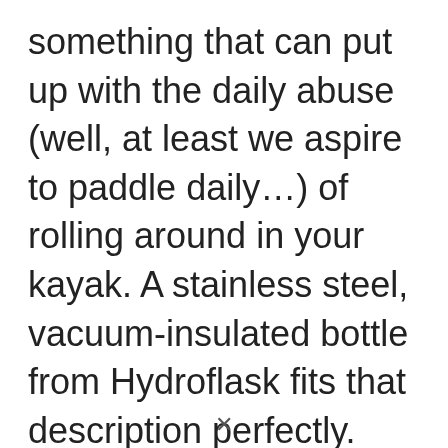something that can put up with the daily abuse (well, at least we aspire to paddle daily…) of rolling around in your kayak. A stainless steel, vacuum-insulated bottle from Hydroflask fits that description perfectly.